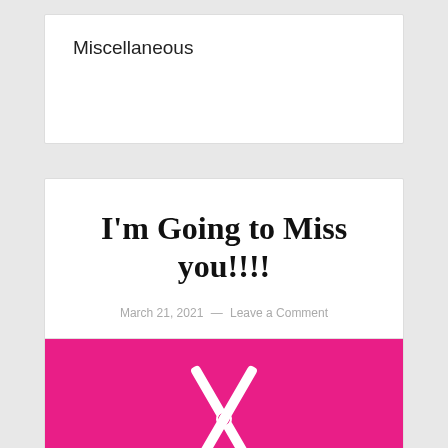Miscellaneous
I'm Going to Miss you!!!!
March 21, 2021 — Leave a Comment
[Figure (illustration): Hot pink background with white scissors icon in the center]